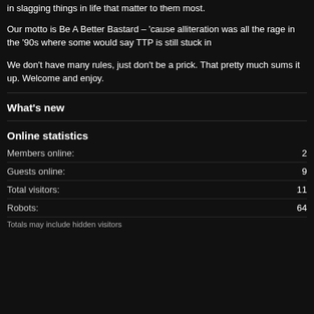in slagging things in life that matter to them most.
Our motto is Be A Better Bastard – 'cause alliteration was all the rage in the '90s where some would say TTP is still stuck in
We don't have many rules, just don't be a prick. That pretty much sums it up. Welcome and enjoy.
What's new
Online statistics
Members online: 2
Guests online: 9
Total visitors: 11
Robots: 64
Totals may include hidden visitors